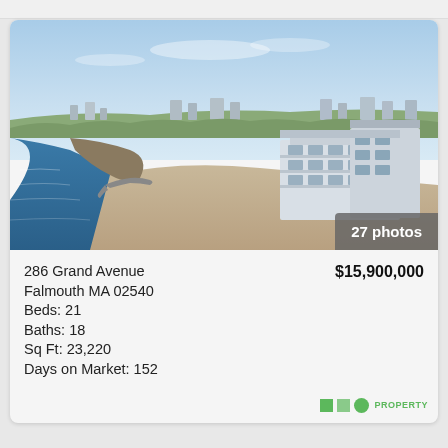[Figure (photo): Aerial coastal photograph showing a beachfront property in Falmouth MA with ocean water, sandy beach, jetty, and residential buildings along the shore]
27 photos
286 Grand Avenue Falmouth MA 02540
Beds: 21
Baths: 18
Sq Ft: 23,220
Days on Market: 152
$15,900,000
[Figure (logo): MLS Property logo in green]